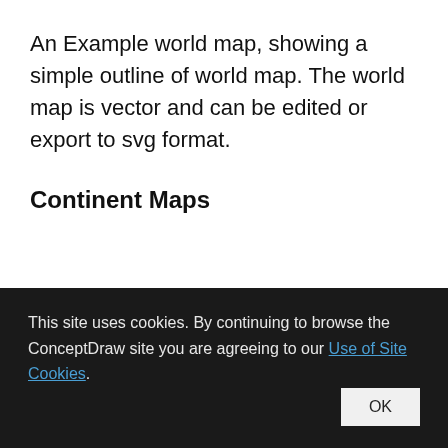An Example world map, showing a simple outline of world map. The world map is vector and can be edited or export to svg format.
Continent Maps
[Figure (photo): A photograph showing a printed map document on a dark wooden surface, partially visible with colored legend markers and text columns]
This site uses cookies. By continuing to browse the ConceptDraw site you are agreeing to our Use of Site Cookies.